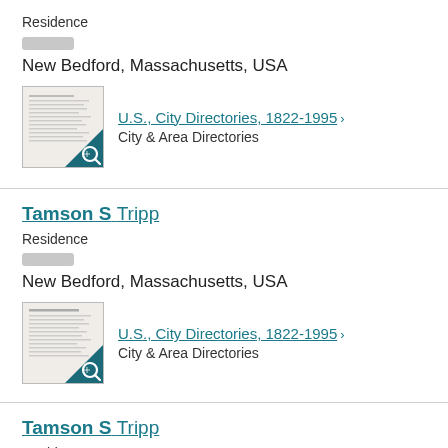Residence
[blurred]
New Bedford, Massachusetts, USA
[Figure (screenshot): Thumbnail of a city directory page with a teal/dark blue corner overlay containing a magnifying glass icon]
U.S., City Directories, 1822-1995 > City & Area Directories
Tamson S Tripp
Residence
[blurred]
New Bedford, Massachusetts, USA
[Figure (screenshot): Thumbnail of a city directory page with a teal/dark blue corner overlay containing a magnifying glass icon]
U.S., City Directories, 1822-1995 > City & Area Directories
Tamson S Tripp
Residence